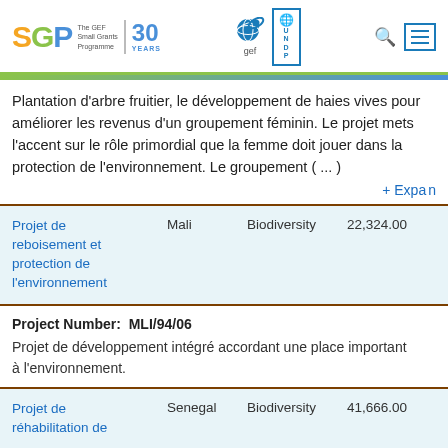SGP The GEF Small Grants Programme 30 YEARS | gef | UNDP
Plantation d'arbre fruitier, le développement de haies vives pour améliorer les revenus d'un groupement féminin. Le projet mets l'accent sur le rôle primordial que la femme doit jouer dans la protection de l'environnement. Le groupement ( ... )
+ Expand
| Project | Country | Focus | Amount |
| --- | --- | --- | --- |
| Projet de reboisement et protection de l'environnement | Mali | Biodiversity | 22,324.00 |
Project Number:  MLI/94/06
Projet de développement intégré accordant une place important à l'environnement.
| Project | Country | Focus | Amount |
| --- | --- | --- | --- |
| Projet de réhabilitation de | Senegal | Biodiversity | 41,666.00 |